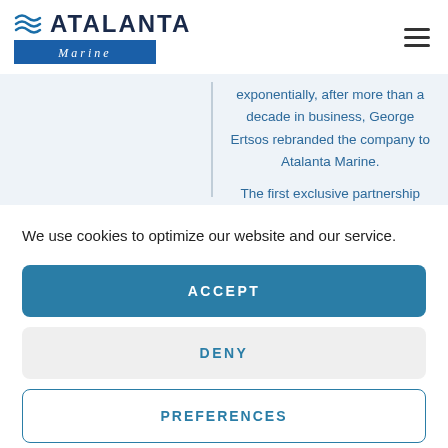[Figure (logo): Atalanta Marine logo with wave icon and blue bar]
exponentially, after more than a decade in business, George Ertsos rebranded the company to Atalanta Marine.
The first exclusive partnership
We use cookies to optimize our website and our service.
ACCEPT
DENY
PREFERENCES